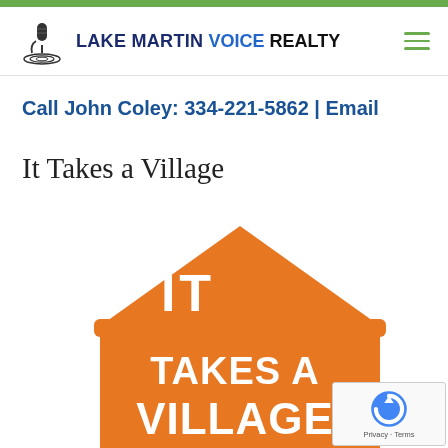[Figure (logo): Lake Martin Voice Realty logo with microphone icon and green hamburger menu icon]
Call John Coley: 334-221-5862 | Email
It Takes a Village
[Figure (illustration): Orange house-shaped graphic with white text reading IT TAKES A VILLAGE]